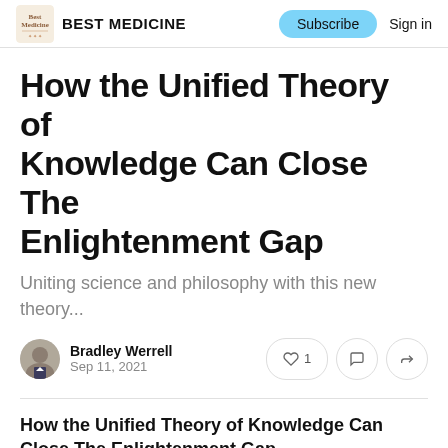BEST MEDICINE
How the Unified Theory of Knowledge Can Close The Enlightenment Gap
Uniting science and philosophy with this new theory...
Bradley Werrell
Sep 11, 2021
How the Unified Theory of Knowledge Can Close The Enlightenment Gap
Gregg Henriques thinks he has developed a theory which can allow us to pursue the function of